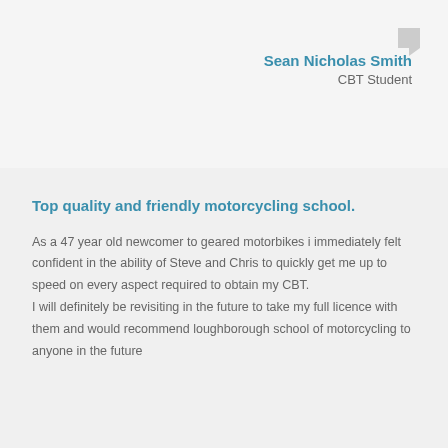Sean Nicholas Smith
CBT Student
Top quality and friendly motorcycling school.
As a 47 year old newcomer to geared motorbikes i immediately felt confident in the ability of Steve and Chris to quickly get me up to speed on every aspect required to obtain my CBT.
I will definitely be revisiting in the future to take my full licence with them and would recommend loughborough school of motorcycling to anyone in the future